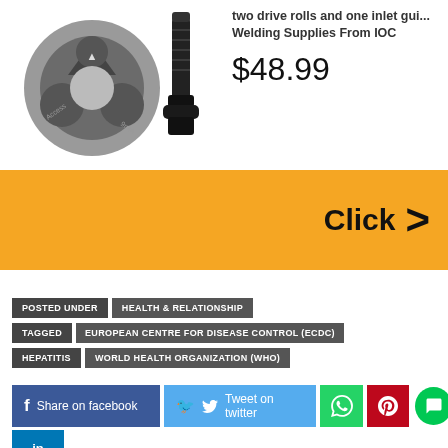[Figure (photo): Product image showing a circular drive roll ring and a black bolt/screw welding part]
two drive rolls and one inlet gui...
Welding Supplies From IOC
$48.99
[Figure (other): Yellow banner with 'Click' text and right-pointing arrow]
POSTED UNDER   HEALTH & RELATIONSHIP
TAGGED   EUROPEAN CENTRE FOR DISEASE CONTROL (ECDC)
HEPATITIS   WORLD HEALTH ORGANIZATION (WHO)
Share on facebook   Tweet on twitter   [WhatsApp] [Pinterest] [Chat]
in [LinkedIn]